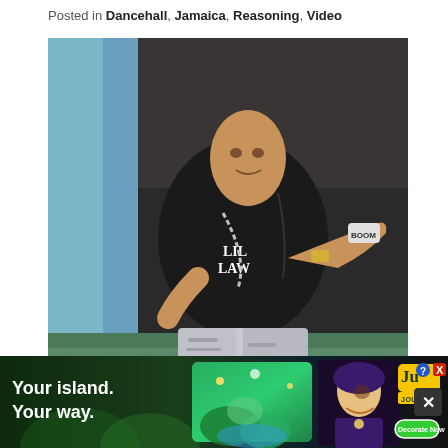Posted in Dancehall, Jamaica, Reasoning, Video
[Figure (photo): A man sitting on a green bench/seat, wearing a black t-shirt with 'LIL LAW' text and ripped jeans, pointing toward the camera while holding a microphone. The Boomshots watermark is visible at the bottom of the image.]
[Figure (screenshot): Advertisement banner: 'Your island. Your way.' with game imagery (Ju Journey) and a 'Decorate Now' button. Shows animated game scenery and a character.]